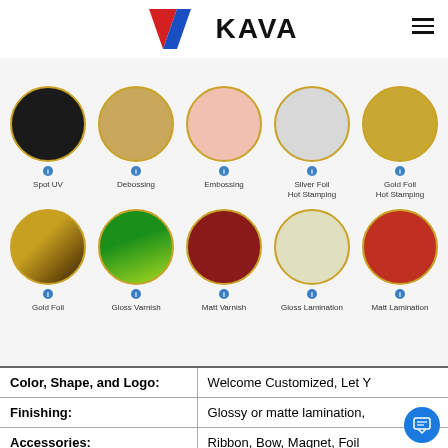KAVA
Process Types
[Figure (infographic): Grid of 10 circular images showing printing/finishing process types: Spot UV, Debossing, Embossing, Silver Foil Hot Stamping, Gold Foil Hot Stamping (row 1); Gold Foil, Gloss Varnish, Matt Varnish, Gloss Lamination, Matt Lamination (row 2). Each circle has a gold border and an info icon below with a text label.]
| Property | Value |
| --- | --- |
| Color, Shape, and Logo: | Welcome Customized, Let Y |
| Finishing: | Glossy or matte lamination, |
| Accessories: | Ribbon, Bow, Magnet, Foil |